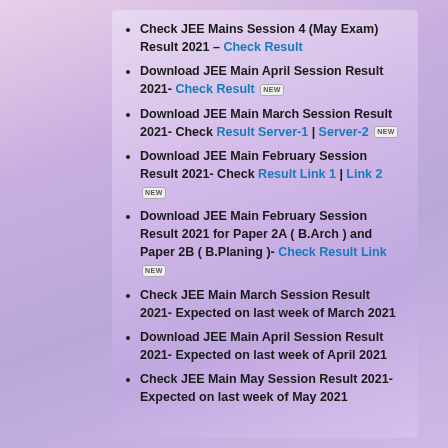Check JEE Mains Session 4 (May Exam) Result 2021 – Check Result
Download JEE Main April Session Result 2021- Check Result [NEW]
Download JEE Main March Session Result 2021- Check Result Server-1 | Server-2 [NEW]
Download JEE Main February Session Result 2021- Check Result Link 1 | Link 2 [NEW]
Download JEE Main February Session Result 2021 for Paper 2A ( B.Arch ) and Paper 2B ( B.Planing )- Check Result Link [NEW]
Check JEE Main March Session Result 2021- Expected on last week of March 2021
Download JEE Main April Session Result 2021- Expected on last week of April 2021
Check JEE Main May Session Result 2021- Expected on last week of May 2021